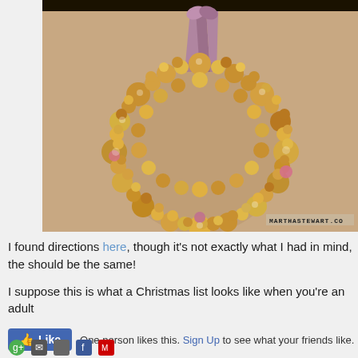[Figure (photo): A golden ornament ball wreath hung with a purple/mauve ribbon against a peach/tan background, with a watermark reading MARTHASTEWART.CO in the bottom right corner]
I found directions here, though it's not exactly what I had in mind, the should be the same!
I suppose this is what a Christmas list looks like when you're an adult
One person likes this. Sign Up to see what your friends like.